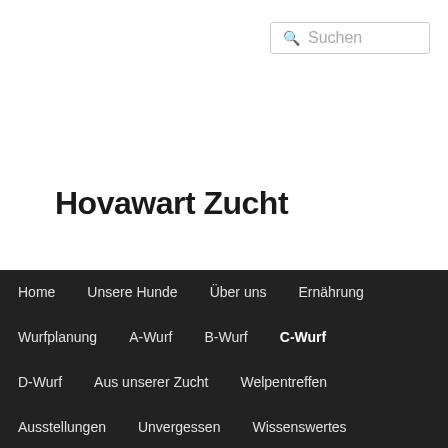Suchen
Hovawart Zucht
Home
Unsere Hunde
Über uns
Ernährung
Wurfplanung
A-Wurf
B-Wurf
C-Wurf
D-Wurf
Aus unserer Zucht
Welpentreffen
Ausstellungen
Unvergessen
Wissenswertes